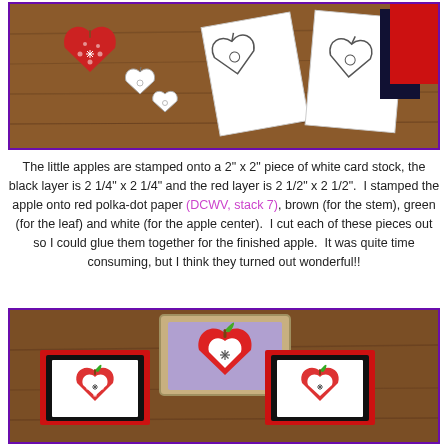[Figure (photo): Photo of stamped apple heart shapes on white card stock, with red and navy paper pieces visible on a wooden surface background.]
The little apples are stamped onto a 2" x 2" piece of white card stock, the black layer is 2 1/4" x 2 1/4" and the red layer is 2 1/2" x 2 1/2".  I stamped the apple onto red polka-dot paper (DCWV, stack 7), brown (for the stem), green (for the leaf) and white (for the apple center).  I cut each of these pieces out so I could glue them together for the finished apple.  It was quite time consuming, but I think they turned out wonderful!!
[Figure (photo): Photo showing a rubber stamp with apple/heart design on a lavender block, and two completed apple cards on red and black layered card stock on a wooden surface.]